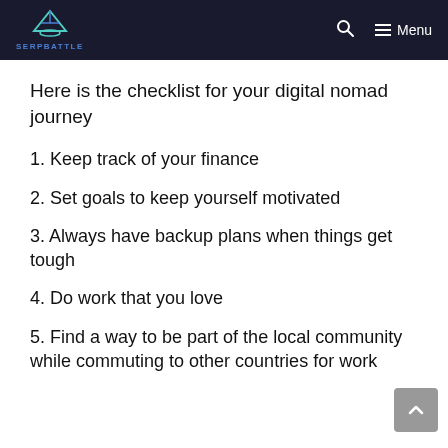SERPBATTLE
Here is the checklist for your digital nomad journey
1. Keep track of your finance
2. Set goals to keep yourself motivated
3. Always have backup plans when things get tough
4. Do work that you love
5. Find a way to be part of the local community while commuting to other countries for work